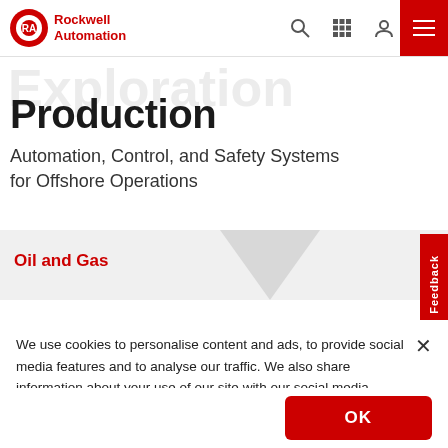Rockwell Automation — Navigation bar with logo, search, grid, user, and menu icons
Production
Automation, Control, and Safety Systems for Offshore Operations
Oil and Gas
We use cookies to personalise content and ads, to provide social media features and to analyse our traffic. We also share information about your use of our site with our social media, advertising and analytics partners.
OK